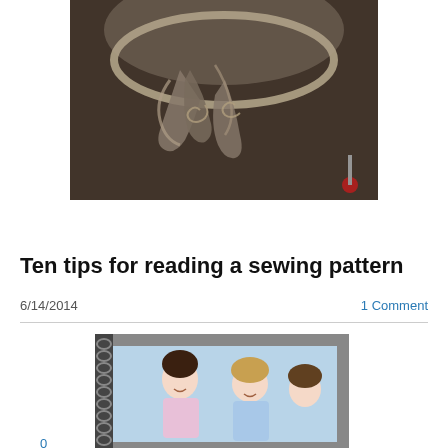[Figure (photo): Close-up photo of sewing tools including scissors and thread on a dark fabric background with a small red pin cushion visible.]
0 Comments
Ten tips for reading a sewing pattern
6/14/2014
1 Comment
[Figure (photo): Photo of two women smiling, partially visible, appearing to be from a sewing or crafting blog post.]